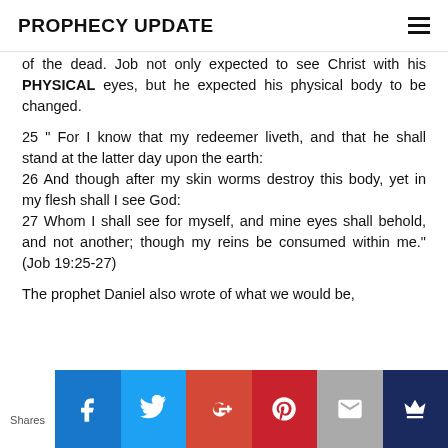PROPHECY UPDATE
of the dead. Job not only expected to see Christ with his PHYSICAL eyes, but he expected his physical body to be changed.
25 “ For I know that my redeemer liveth, and that he shall stand at the latter day upon the earth:
26 And though after my skin worms destroy this body, yet in my flesh shall I see God:
27 Whom I shall see for myself, and mine eyes shall behold, and not another; though my reins be consumed within me.” (Job 19:25-27)
The prophet Daniel also wrote of what we would be,